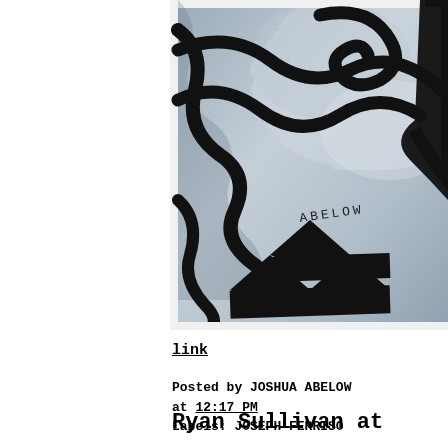[Figure (photo): Abstract painting with black bold outlines on a grey-blue marbled background. The word 'ABELOW' is written in the painting. Black chevron/zigzag shapes are visible at the bottom.]
link
Posted by JOSHUA ABELOW at 12:17 PM
Labels: JOSEPH FERRISO
Ryan Sullivan at